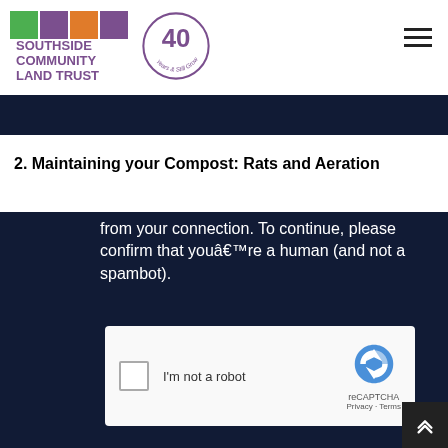[Figure (logo): Southside Community Land Trust logo with four colored squares (green, purple, orange, purple) and text 'SOUTHSIDE COMMUNITY LAND TRUST', alongside a '40 Years & Still Growing' anniversary badge circle in purple.]
2. Maintaining your Compost: Rats and Aeration
[Figure (screenshot): Dark navy overlay banner with white text reading 'from your connection. To continue, please confirm that youâ€™re a human (and not a spambot).' and a reCAPTCHA 'I'm not a robot' checkbox widget below.]